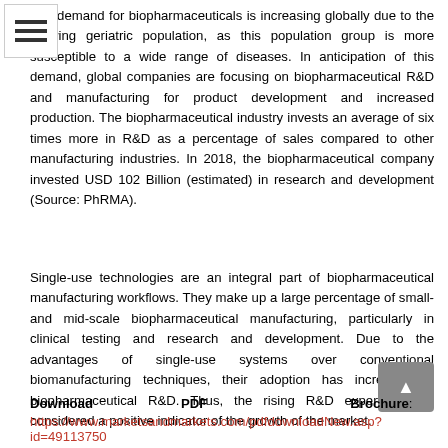The demand for biopharmaceuticals is increasing globally due to the growing geriatric population, as this population group is more susceptible to a wide range of diseases. In anticipation of this demand, global companies are focusing on biopharmaceutical R&D and manufacturing for product development and increased production. The biopharmaceutical industry invests an average of six times more in R&D as a percentage of sales compared to other manufacturing industries. In 2018, the biopharmaceutical company invested USD 102 Billion (estimated) in research and development (Source: PhRMA).
Single-use technologies are an integral part of biopharmaceutical manufacturing workflows. They make up a large percentage of small- and mid-scale biopharmaceutical manufacturing, particularly in clinical testing and research and development. Due to the advantages of single-use systems over conventional biomanufacturing techniques, their adoption has increased in biopharmaceutical R&D. Thus, the rising R&D expenditure is considered a positive indicator of the growth of the market.
Download PDF Brochure: https://www.marketsandmarkets.com/pdfdownloadNew.asp?id=49113750